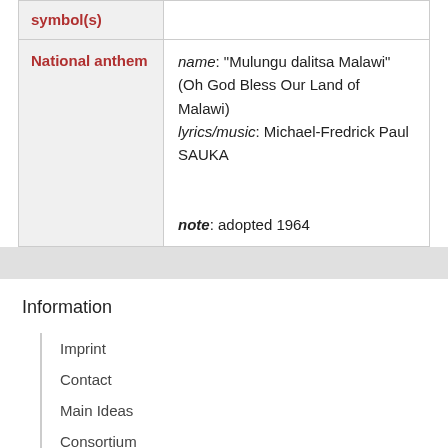| Field | Value |
| --- | --- |
| symbol(s) |  |
| National anthem | name: "Mulungu dalitsa Malawi" (Oh God Bless Our Land of Malawi)
lyrics/music: Michael-Fredrick Paul SAUKA

note: adopted 1964 |
Information
Imprint
Contact
Main Ideas
Consortium
Recent Contributions
Austria-Forum